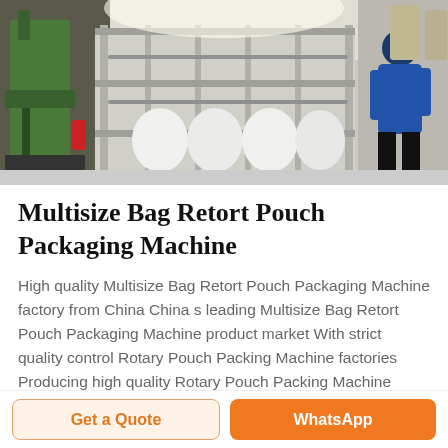[Figure (photo): Industrial packaging machine facility showing stainless steel rotary pouch packing machinery with a worker in blue jacket on the right, green drilling machine on the left, in a large factory setting.]
Multisize Bag Retort Pouch Packaging Machine
High quality Multisize Bag Retort Pouch Packaging Machine factory from China China s leading Multisize Bag Retort Pouch Packaging Machine product market With strict quality control Rotary Pouch Packing Machine factories Producing high quality Rotary Pouch Packing Machine products
Get a Quote | WhatsApp